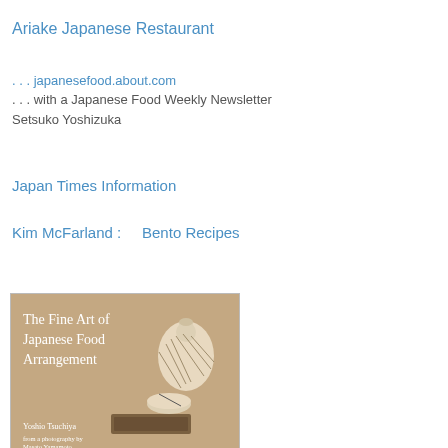Ariake Japanese Restaurant
. . . japanesefood.about.com
. . . with a Japanese Food Weekly Newsletter
Setsuko Yoshizuka
Japan Times Information
Kim McFarland :     Bento Recipes
[Figure (photo): Book cover of 'The Fine Art of Japanese Food Arrangement' by Yoshio Tsuchiya, showing ceramic vessels on a beige/taupe background]